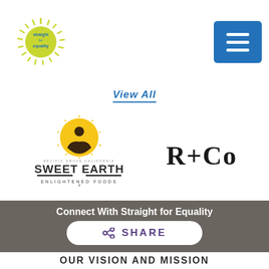[Figure (logo): Straight for Equality logo with starburst and text]
[Figure (logo): Blue hamburger menu button]
View All
[Figure (logo): Sweet Earth Enlightened Foods logo]
[Figure (logo): R+Co logo]
Connect With Straight for Equality
[Figure (infographic): Social media icons: Twitter, Facebook, Instagram, LinkedIn, YouTube]
SHARE
OUR VISION AND MISSION